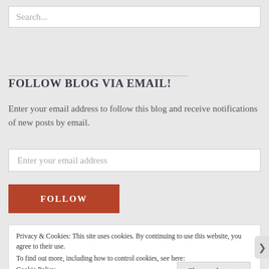Search...
FOLLOW BLOG VIA EMAIL!
Enter your email address to follow this blog and receive notifications of new posts by email.
Enter your email address
FOLLOW
Privacy & Cookies: This site uses cookies. By continuing to use this website, you agree to their use.
To find out more, including how to control cookies, see here:
Cookie Policy
Close and accept